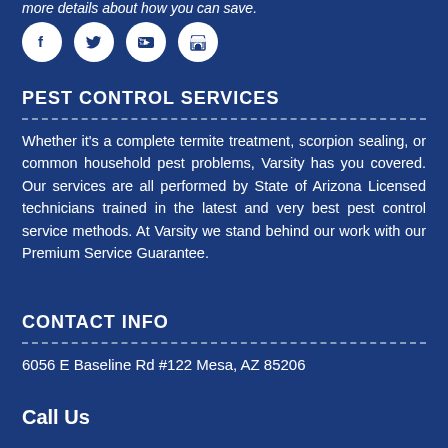more details about how you can save.
[Figure (infographic): Four social media icon circles: Facebook, Twitter, YouTube, and a store/shop icon]
PEST CONTROL SERVICES
Whether it’s a complete termite treatment, scorpion sealing, or common household pest problems, Varsity has you covered. Our services are all performed by State of Arizona Licensed technicians trained in the latest and very best pest control service methods. At Varsity we stand behind our work with our Premium Service Guarantee.
CONTACT INFO
6056 E Baseline Rd #122 Mesa, AZ 85206
Call Us